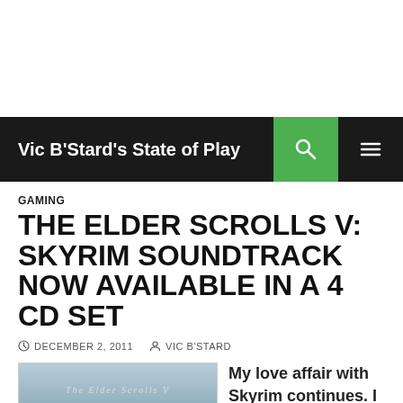Vic B'Stard's State of Play
GAMING
THE ELDER SCROLLS V: SKYRIM SOUNDTRACK NOW AVAILABLE IN A 4 CD SET
DECEMBER 2, 2011  VIC B'STARD
[Figure (photo): The Elder Scrolls V Skyrim soundtrack CD box set cover showing snowy landscape with SKYRIM text]
My love affair with Skyrim continues. I just can't get enough of it.